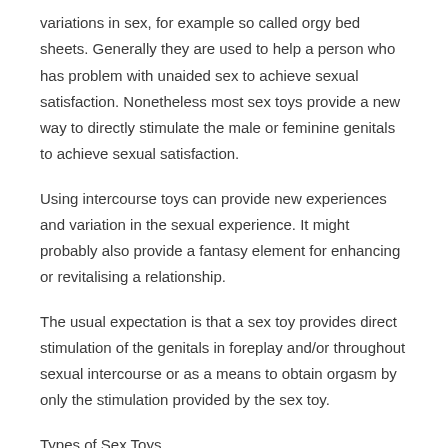variations in sex, for example so called orgy bed sheets. Generally they are used to help a person who has problem with unaided sex to achieve sexual satisfaction. Nonetheless most sex toys provide a new way to directly stimulate the male or feminine genitals to achieve sexual satisfaction.
Using intercourse toys can provide new experiences and variation in the sexual experience. It might probably also provide a fantasy element for enhancing or revitalising a relationship.
The usual expectation is that a sex toy provides direct stimulation of the genitals in foreplay and/or throughout sexual intercourse or as a means to obtain orgasm by only the stimulation provided by the sex toy.
Types of Sex Toys
Vibrating Intercourse Toys